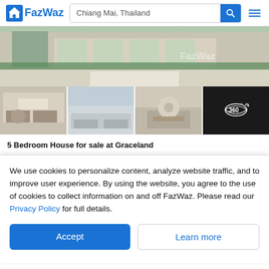FazWaz — Chiang Mai, Thailand search bar
[Figure (photo): Main property exterior photo showing a modern house with garden and driveway]
[Figure (photo): Four property interior thumbnail photos: living room, lounge, dining room, and 360-degree view icon]
5 Bedroom House for sale at Graceland
Graceland, an upscale housing project in quality society, stands out with the concept of Modern European style, representing an authentic European aura. Moreover, every unit has been thoughtfully desi...
5  4  252 SqM  House
We use cookies to personalize content, analyze website traffic, and to improve user experience. By using the website, you agree to the use of cookies to collect information on and off FazWaz. Please read our Privacy Policy for full details.
Accept
Learn more
Graceland